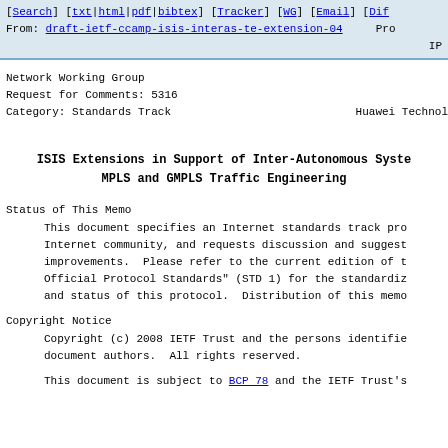[Search] [txt|html|pdf|bibtex] [Tracker] [WG] [Email] [Dif
From: draft-ietf-ccamp-isis-interas-te-extension-04   Pro IP
Network Working Group
Request for Comments: 5316
Category: Standards Track                                    Huawei Technol
ISIS Extensions in Support of Inter-Autonomous Syste
MPLS and GMPLS Traffic Engineering
Status of This Memo
This document specifies an Internet standards track pro Internet community, and requests discussion and suggest improvements.  Please refer to the current edition of t Official Protocol Standards" (STD 1) for the standardiz and status of this protocol.  Distribution of this memo
Copyright Notice
Copyright (c) 2008 IETF Trust and the persons identifie document authors.  All rights reserved.
This document is subject to BCP 78 and the IETF Trust's